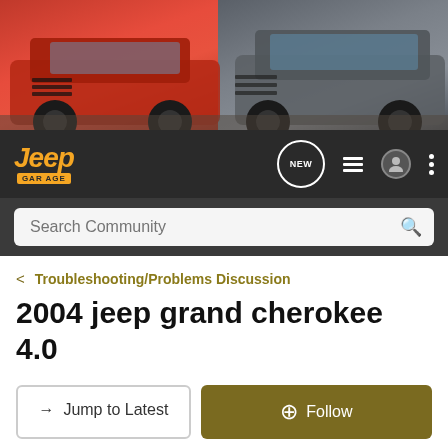[Figure (photo): Jeep banner showing a red Jeep Wrangler on the left and a gray Jeep Grand Cherokee on the right against an outdoor background]
[Figure (logo): Jeep Garage logo in orange italic text with GARAGE badge below on dark navigation bar, with NEW chat icon, list icon, user icon, and three-dot menu]
Search Community
< Troubleshooting/Problems Discussion
2004 jeep grand cherokee 4.0
→ Jump to Latest
+ Follow
1 - 19 of 19 Posts
roadrash88 · Registered
Joined Apr 13, 2013 · 24 Posts